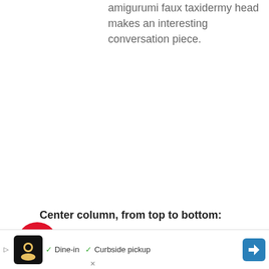amigurumi faux taxidermy head makes an interesting conversation piece.
[Figure (other): Three social media share buttons (Pinterest red circle with P icon, Facebook dark blue circle with f icon, Twitter light blue circle with bird icon), stacked vertically on the left side]
Center column, from top to bottom:
Christmas Tree Pillow by Underground
[Figure (other): Advertisement banner showing a restaurant logo, check marks for Dine-in and Curbside pickup, and a blue navigation arrow icon]